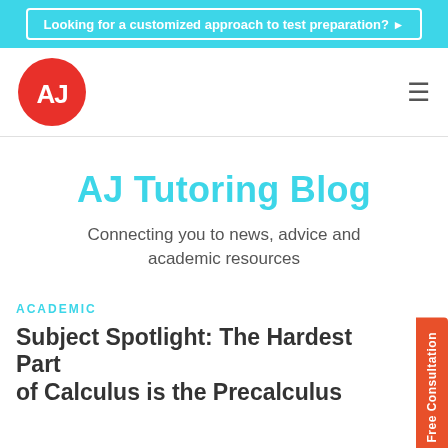Looking for a customized approach to test preparation? ▶
[Figure (logo): AJ Tutoring logo: red circle with white 'AJ' text]
AJ Tutoring Blog
Connecting you to news, advice and academic resources
ACADEMIC
Subject Spotlight: The Hardest Part of Calculus is the Precalculus